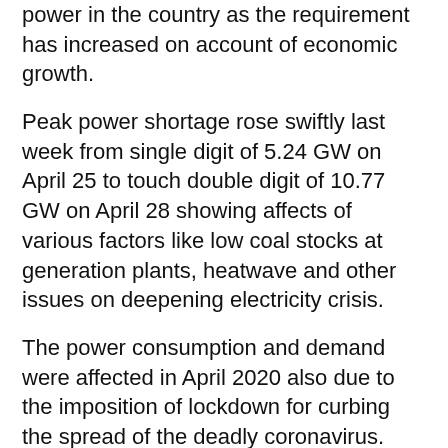power in the country as the requirement has increased on account of economic growth.
Peak power shortage rose swiftly last week from single digit of 5.24 GW on April 25 to touch double digit of 10.77 GW on April 28 showing affects of various factors like low coal stocks at generation plants, heatwave and other issues on deepening electricity crisis.
The power consumption and demand were affected in April 2020 also due to the imposition of lockdown for curbing the spread of the deadly coronavirus. The power consumption in April 2019 (pre-pandemic period) was 110.11 billion units.
Also, speaking at the event, Union Heavy Industries Minister Mahendra Nath Pandey said:” Under the government’s FAME-II scheme, tendering of 5,400